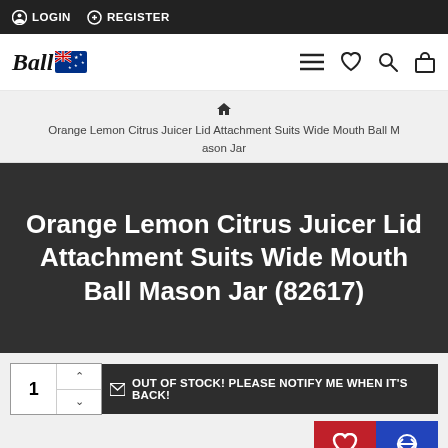LOGIN  REGISTER
[Figure (logo): Ball brand logo with Australian flag]
Orange Lemon Citrus Juicer Lid Attachment Suits Wide Mouth Ball Mason Jar
Orange Lemon Citrus Juicer Lid Attachment Suits Wide Mouth Ball Mason Jar (82617)
OUT OF STOCK! PLEASE NOTIFY ME WHEN IT'S BACK!